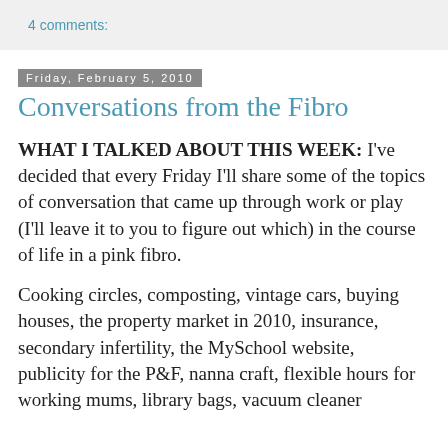4 comments:
Friday, February 5, 2010
Conversations from the Fibro
WHAT I TALKED ABOUT THIS WEEK: I've decided that every Friday I'll share some of the topics of conversation that came up through work or play (I'll leave it to you to figure out which) in the course of life in a pink fibro.
Cooking circles, composting, vintage cars, buying houses, the property market in 2010, insurance, secondary infertility, the MySchool website, publicity for the P&F, nanna craft, flexible hours for working mums, library bags, vacuum cleaner